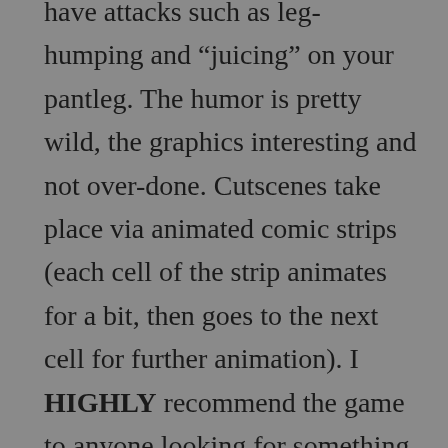have attacks such as leg-humping and “juicing” on your pantleg. The humor is pretty wild, the graphics interesting and not over-done. Cutscenes take place via animated comic strips (each cell of the strip animates for a bit, then goes to the next cell for further animation). I HIGHLY recommend the game to anyone looking for something a bit different. Of course, I recommend XBLA if you have it… you know, 200 Gamer Score plus support of XBLA. But that’s just me.